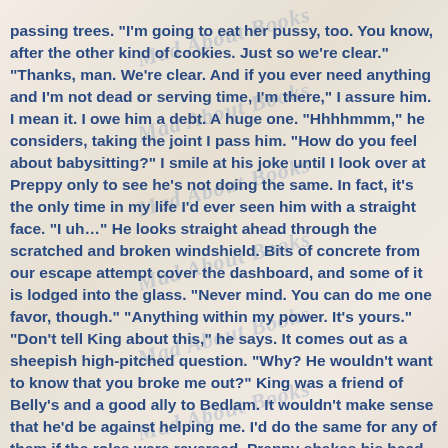[Figure (illustration): Watermarked background with colorful book covers and heart/decorative motifs, with repeated 'Mad About Books' watermark text overlaid diagonally]
passing trees. "I'm going to eat her pussy, too. You know, after the other kind of cookies. Just so we're clear." "Thanks, man. We're clear. And if you ever need anything and I'm not dead or serving time, I'm there," I assure him. I mean it. I owe him a debt. A huge one. "Hhhhmmm," he considers, taking the joint I pass him. "How do you feel about babysitting?" I smile at his joke until I look over at Preppy only to see he's not doing the same. In fact, it's the only time in my life I'd ever seen him with a straight face. "I uh…" He looks straight ahead through the scratched and broken windshield. Bits of concrete from our escape attempt cover the dashboard, and some of it is lodged into the glass. "Never mind. You can do me one favor, though." "Anything within my power. It's yours." "Don't tell King about this," he says. It comes out as a sheepish high-pitched question. "Why? He wouldn't want to know that you broke me out?" King was a friend of Belly's and a good ally to Bedlam. It wouldn't make sense that he'd be against helping me. I'd do the same for any of them if the roles were reversed. Preppy shakes his head. "Oh no, he knows I broke you out. I just sent him a text to tell him it's over. The grand escape is complete." He steps on the gas. "But he don't gotta know I